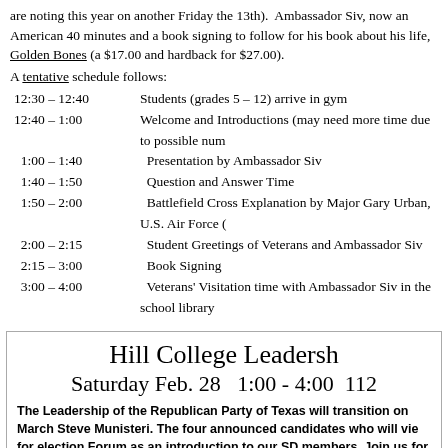are noting this year on another Friday the 13th).  Ambassador Siv, now an American 40 minutes and a book signing to follow for his book about his life, Golden Bones (a $17.00 and hardback for $27.00).
A tentative schedule follows:
12:30 – 12:40   Students (grades 5 – 12) arrive in gym
12:40 – 1:00    Welcome and Introductions (may need more time due to possible num
1:00 – 1:40     Presentation by Ambassador Siv
1:40 – 1:50     Question and Answer Time
1:50 – 2:00     Battlefield Cross Explanation by Major Gary Urban, U.S. Air Force
2:00 – 2:15     Student Greetings of Veterans and Ambassador Siv
2:15 – 3:00     Book Signing
3:00 – 4:00     Veterans' Visitation time with Ambassador Siv in the school library
Hill College Leadership
Saturday Feb. 28   1:00 - 4:00   112
The Leadership of the Republican Party of Texas will transition on March Steve Munisteri. The four announced candidates who will vie for election Forum as an introduction to our SD members. Join us for this informative
Senator Brian Birdwell